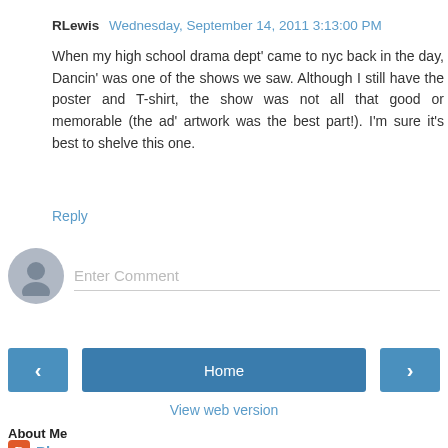RLews  Wednesday, September 14, 2011 3:13:00 PM
When my high school drama dept' came to nyc back in the day, Dancin' was one of the shows we saw. Although I still have the poster and T-shirt, the show was not all that good or memorable (the ad' artwork was the best part!). I'm sure it's best to shelve this one.
Reply
[Figure (other): Comment input field with user avatar placeholder]
< Home > View web version
About Me
Playgoer